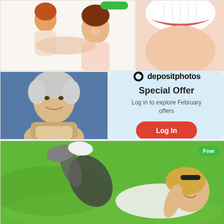[Figure (photo): Mother and red-haired child smiling, white background]
[Figure (photo): Close-up of woman smiling showing white teeth]
[Figure (photo): Elderly woman with short grey hair smiling against blue background]
[Figure (screenshot): Depositphotos Special Offer promotional panel with Log In button]
[Figure (photo): Young woman lying on grass smiling with legs up, Free badge in corner]